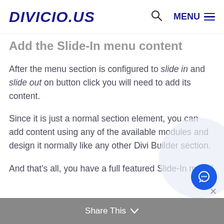DIVICIO.US  🔍  MENU
Add the Slide-In menu content
After the menu section is configured to slide in and slide out on button click you will need to add its content.
Since it is just a normal section element, you can add content using any of the available modules and design it normally like any other Divi Builder section.
And that's all, you have a full featured Slide-In menu!
Share This ∨